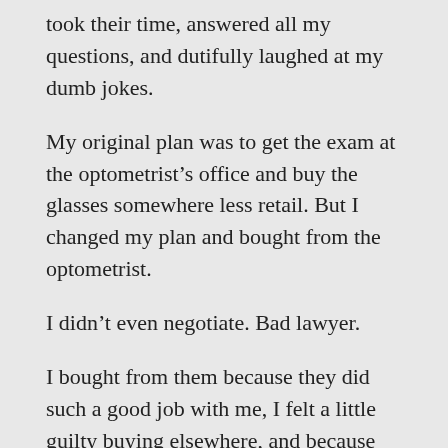took their time, answered all my questions, and dutifully laughed at my dumb jokes.
My original plan was to get the exam at the optometrist’s office and buy the glasses somewhere less retail. But I changed my plan and bought from the optometrist.
I didn’t even negotiate. Bad lawyer.
I bought from them because they did such a good job with me, I felt a little guilty buying elsewhere, and because they made it so easy for me to say yes and be done with it.
Great service and convenience cost me more, but it was worth it.
Your clients will often “pay retail” for the same